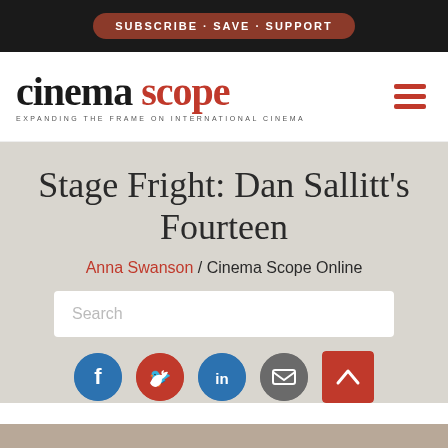SUBSCRIBE · SAVE · SUPPORT
[Figure (logo): Cinema Scope logo with tagline: EXPANDING THE FRAME ON INTERNATIONAL CINEMA]
Stage Fright: Dan Sallitt's Fourteen
Anna Swanson / Cinema Scope Online
Search
[Figure (infographic): Social media sharing icons: Facebook, Twitter, LinkedIn, Email, plus a scroll-to-top button]